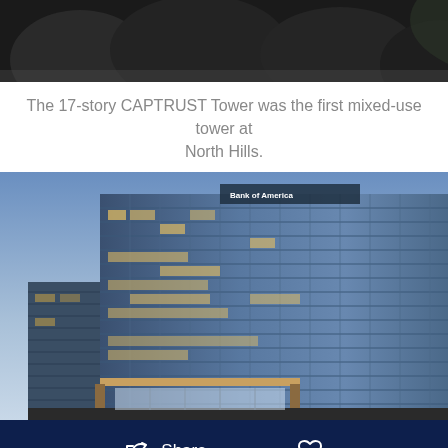[Figure (photo): Top portion of a building photo showing dark tree tops against a building with dark background, cropped at top of page]
The 17-story CAPTRUST Tower was the first mixed-use tower at North Hills.
[Figure (photo): A modern glass office tower photographed at dusk/dawn with blue sky. The tall building has curved glass facade with illuminated windows. Bank of America signage visible at top.]
Share